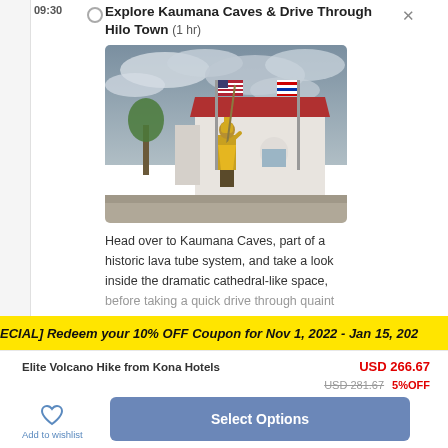09:30
Explore Kaumana Caves & Drive Through Hilo Town (1 hr)
[Figure (photo): King Kamehameha statue in gold attire with spear, flanked by US and Hawaii state flags in front of a white building with red roof under cloudy sky]
Head over to Kaumana Caves, part of a historic lava tube system, and take a look inside the dramatic cathedral-like space, before taking a quick drive through quaint
[SPECIAL] Redeem your 10% OFF Coupon for Nov 1, 2022 - Jan 15, 202...
Elite Volcano Hike from Kona Hotels
USD 266.67
USD 281.67  5%OFF
Add to wishlist
Select Options